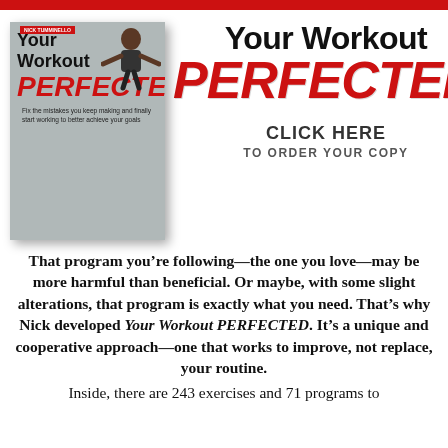[Figure (illustration): Red horizontal bar at the top of the page]
[Figure (photo): Book cover of 'Your Workout PERFECTED' showing a man with arms outstretched on a silver/grey background, red author tag at top left]
Your Workout PERFECTED
CLICK HERE
TO ORDER YOUR COPY
That program you’re following—the one you love—may be more harmful than beneficial. Or maybe, with some slight alterations, that program is exactly what you need. That’s why Nick developed Your Workout PERFECTED. It’s a unique and cooperative approach—one that works to improve, not replace, your routine.
Inside, there are 243 exercises and 71 programs to